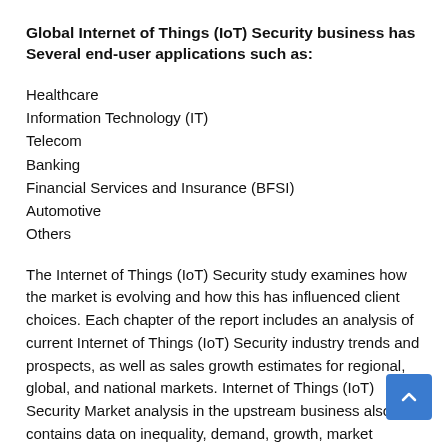Global Internet of Things (IoT) Security business has Several end-user applications such as:
Healthcare
Information Technology (IT)
Telecom
Banking
Financial Services and Insurance (BFSI)
Automotive
Others
The Internet of Things (IoT) Security study examines how the market is evolving and how this has influenced client choices. Each chapter of the report includes an analysis of current Internet of Things (IoT) Security industry trends and prospects, as well as sales growth estimates for regional, global, and national markets. Internet of Things (IoT) Security Market analysis in the upstream business also contains data on inequality, demand, growth, market segmentation, consumer